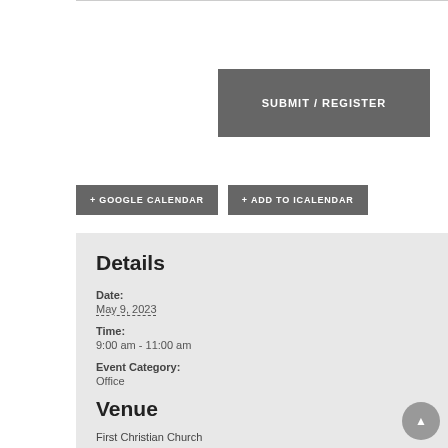[Figure (other): Gray submit/register button]
+ GOOGLE CALENDAR
+ ADD TO ICALENDAR
Details
Date:
May 9, 2023
Time:
9:00 am - 11:00 am
Event Category:
Office
Venue
First Christian Church
300 South Main St.
Lawrenceburg, KY 40342 United States